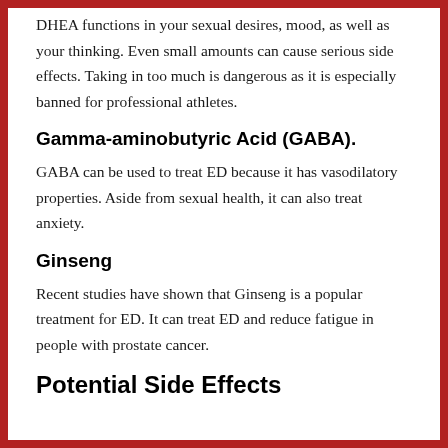DHEA functions in your sexual desires, mood, as well as your thinking. Even small amounts can cause serious side effects. Taking in too much is dangerous as it is especially banned for professional athletes.
Gamma-aminobutyric Acid (GABA).
GABA can be used to treat ED because it has vasodilatory properties. Aside from sexual health, it can also treat anxiety.
Ginseng
Recent studies have shown that Ginseng is a popular treatment for ED. It can treat ED and reduce fatigue in people with prostate cancer.
Potential Side Effects